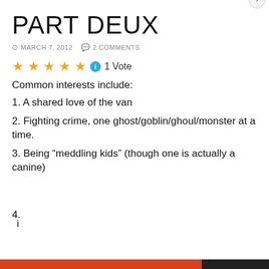PART DEUX
MARCH 7, 2012   2 COMMENTS
[Figure (other): Five gold star rating icons followed by a teal info icon and '1 Vote' text]
Common interests include:
1. A shared love of the van
2. Fighting crime, one ghost/goblin/ghoul/monster at a time.
3. Being “meddling kids” (though one is actually a canine)
Privacy & Cookies: This site uses cookies. By continuing to use this website, you agree to their use.
To find out more, including how to control cookies, see here: Cookie Policy
Close and accept